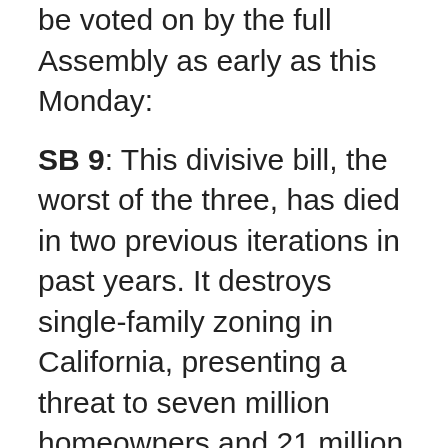be voted on by the full Assembly as early as this Monday:
SB 9: This divisive bill, the worst of the three, has died in two previous iterations in past years. It destroys single-family zoning in California, presenting a threat to seven million homeowners and 21 million residents in those homes. SB 9 allows four market-rate homes where one now stands, and six units when developer/investors use a trick that is built-in SB 9. No additional low-income